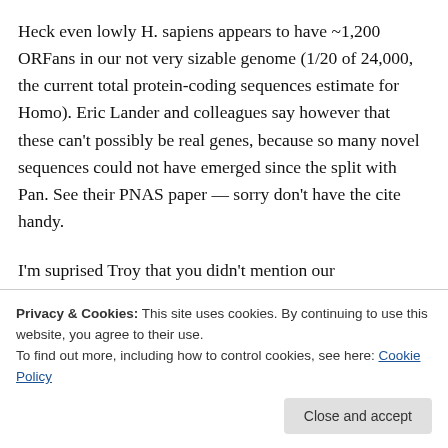Heck even lowly H. sapiens appears to have ~1,200 ORFans in our not very sizable genome (1/20 of 24,000, the current total protein-coding sequences estimate for Homo). Eric Lander and colleagues say however that these can't possibly be real genes, because so many novel sequences could not have emerged since the split with Pan. See their PNAS paper — sorry don't have the cite handy.
I'm suprised Troy that you didn't mention our
to micro-organisms. My main concern, however
Privacy & Cookies: This site uses cookies. By continuing to use this website, you agree to their use.
To find out more, including how to control cookies, see here: Cookie Policy